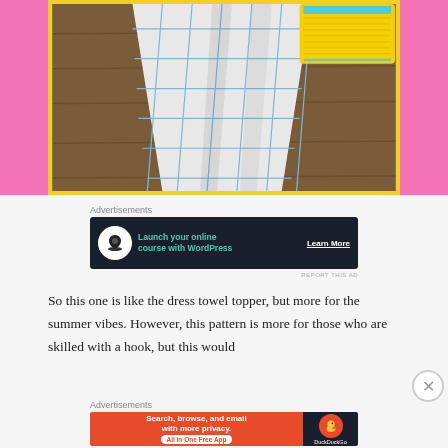[Figure (photo): A blue and white checkered kitchen towel displayed hanging, with a yellow crocheted accessory/topper with blue trim visible in the upper right corner, on a wooden surface background with yellow border frame.]
Advertisements
[Figure (other): Advertisement banner: dark navy background with white circle icon containing a tree silhouette. Text reads 'Launch your online course with WordPress' in teal, with 'Learn More' button in white underlined text on the right.]
REPORT THIS AD
So this one is like the dress towel topper, but more for the summer vibes. However, this pattern is more for those who are skilled with a hook, but this would
Advertisements
[Figure (other): DuckDuckGo advertisement banner: orange left section with text 'Search, browse, and email with more privacy.' and 'All in One Free App' pill button. Right section is dark navy with DuckDuckGo logo (duck in red circle) and 'DuckDuckGo' text.]
REPORT THIS AD